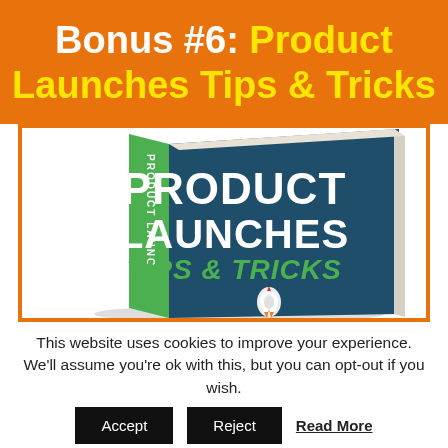Bonus #6: Product Launches Tips & Tricks
[Figure (illustration): 3D book cover titled 'Product Launches Tips & Tricks' with a rocket icon, dark blue cover, green spine, white and green text]
This website uses cookies to improve your experience. We'll assume you're ok with this, but you can opt-out if you wish.
Accept   Reject   Read More